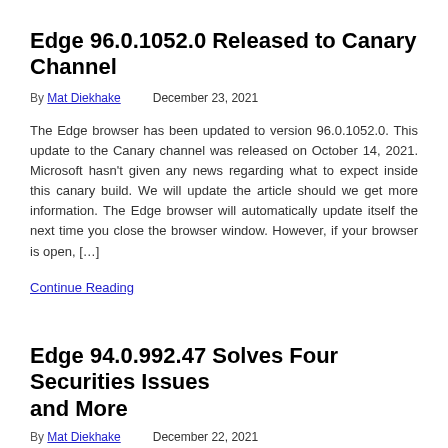Edge 96.0.1052.0 Released to Canary Channel
By Mat Diekhake    December 23, 2021
The Edge browser has been updated to version 96.0.1052.0. This update to the Canary channel was released on October 14, 2021. Microsoft hasn't given any news regarding what to expect inside this canary build. We will update the article should we get more information. The Edge browser will automatically update itself the next time you close the browser window. However, if your browser is open, […]
Continue Reading
Edge 94.0.992.47 Solves Four Securities Issues and More
By Mat Diekhake    December 22, 2021